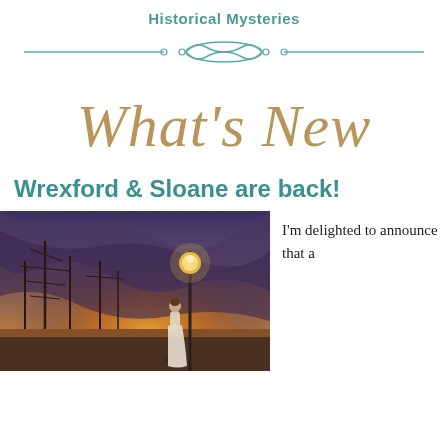Historical Mysteries
[Figure (illustration): Decorative teal divider with scrollwork and ornamental design]
What's New
Wrexford & Sloane are back!
[Figure (photo): A woman in a white dress standing by a glowing street lamp, looking out over a harbor with tall ships, under a dramatic stormy sky with warm golden light at the horizon]
I'm delighted to announce that a